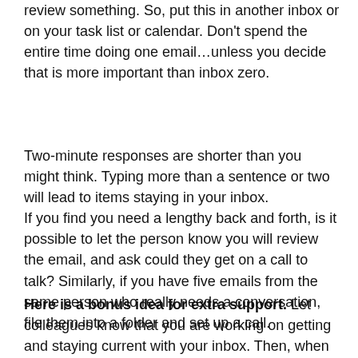review something. So, put this in another inbox or on your task list or calendar. Don't spend the entire time doing one email…unless you decide that is more important than inbox zero.
Two-minute responses are shorter than you might think. Typing more than a sentence or two will lead to items staying in your inbox.
If you find you need a lengthy back and forth, is it possible to let the person know you will review the email, and ask could they get on a call to talk? Similarly, if you have five emails from the same person who really needs a conversation, file them into a folder and set up a call.
Here is a bonus idea for extra support. Let colleagues know that you are working on getting and staying current with your inbox. Then, when you